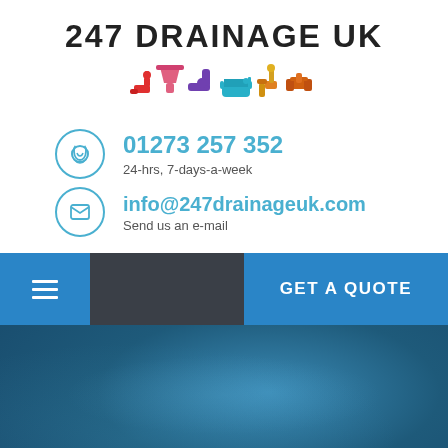247 DRAINAGE UK
[Figure (logo): Colorful plumbing icons: faucet (red), funnel (pink), pipe bend (purple), bathtub (blue/teal), faucet tools (orange/yellow), pipe (orange/yellow)]
01273 257 352
24-hrs, 7-days-a-week
info@247drainageuk.com
Send us an e-mail
GET A QUOTE
Blocked Toilets Twitton